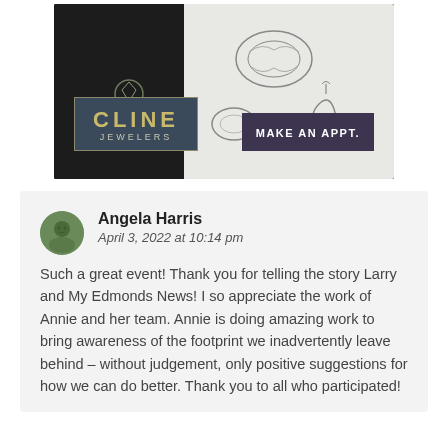[Figure (photo): Cline Jewelers advertisement showing jewelry sketches on paper with the Cline Jewelers logo and a 'Make an Appt.' button]
Angela Harris
April 3, 2022 at 10:14 pm
Such a great event! Thank you for telling the story Larry and My Edmonds News! I so appreciate the work of Annie and her team. Annie is doing amazing work to bring awareness of the footprint we inadvertently leave behind – without judgement, only positive suggestions for how we can do better. Thank you to all who participated!